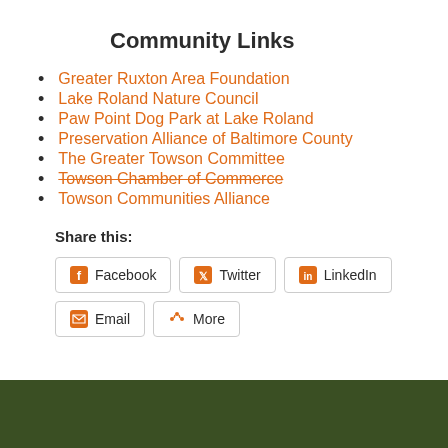Community Links
Greater Ruxton Area Foundation
Lake Roland Nature Council
Paw Point Dog Park at Lake Roland
Preservation Alliance of Baltimore County
The Greater Towson Committee
Towson Chamber of Commerce
Towson Communities Alliance
Share this:
Facebook  Twitter  LinkedIn  Email  More